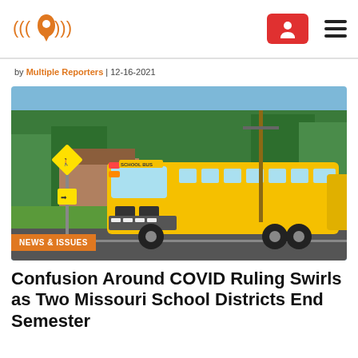Site logo with location pin icon and navigation buttons
by Multiple Reporters | 12-16-2021
[Figure (photo): A yellow school bus driving on a suburban street with green trees in the background and school bus crossing signs visible. An orange NEWS & ISSUES tag overlays the bottom-left of the image.]
Confusion Around COVID Ruling Swirls as Two Missouri School Districts End Semester